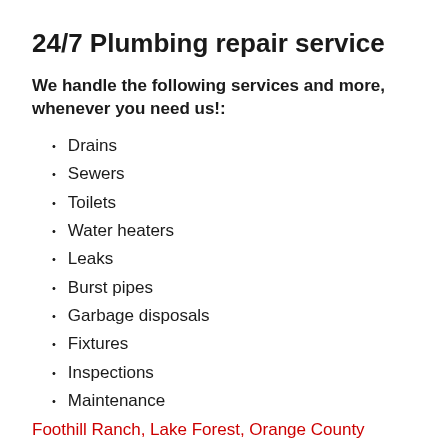24/7 Plumbing repair service
We handle the following services and more, whenever you need us!:
Drains
Sewers
Toilets
Water heaters
Leaks
Burst pipes
Garbage disposals
Fixtures
Inspections
Maintenance
Foothill Ranch, Lake Forest, Orange County